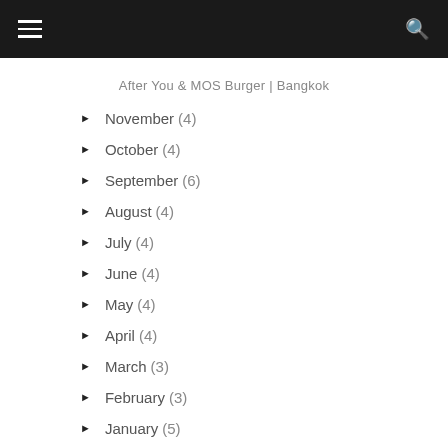navigation header with hamburger menu and search icon
After You & MOS Burger | Bangkok
► November (4)
► October (4)
► September (6)
► August (4)
► July (4)
► June (4)
► May (4)
► April (4)
► March (3)
► February (3)
► January (5)
► 2014 (44)